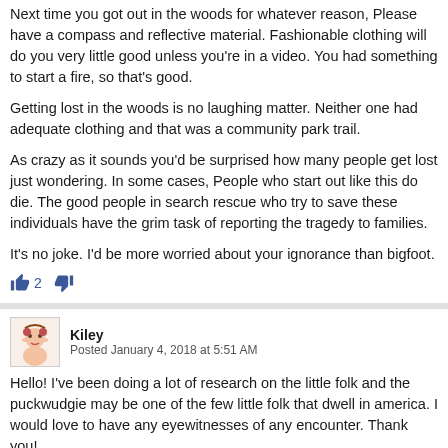Next time you got out in the woods for whatever reason, Please have a compass and reflective material. Fashionable clothing will do you very little good unless you're in a video. You had something to start a fire, so that's good.

Getting lost in the woods is no laughing matter. Neither one had adequate clothing and that was a community park trail.

As crazy as it sounds you'd be surprised how many people get lost just wondering. In some cases, People who start out like this do die. The good people in search rescue who try to save these individuals have the grim task of reporting the tragedy to families.

It's no joke. I'd be more worried about your ignorance than bigfoot.
Kiley
Posted January 4, 2018 at 5:51 AM
Hello! I've been doing a lot of research on the little folk and the puckwudgie may be one of the few little folk that dwell in america. I would love to have any eyewitnesses of an encounter. Thank you!